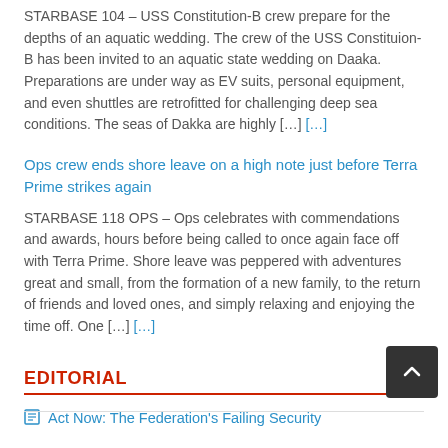STARBASE 104 – USS Constitution-B crew prepare for the depths of an aquatic wedding. The crew of the USS Constituion-B has been invited to an aquatic state wedding on Daaka. Preparations are under way as EV suits, personal equipment, and even shuttles are retrofitted for challenging deep sea conditions. The seas of Dakka are highly […] […]
Ops crew ends shore leave on a high note just before Terra Prime strikes again
STARBASE 118 OPS – Ops celebrates with commendations and awards, hours before being called to once again face off with Terra Prime. Shore leave was peppered with adventures great and small, from the formation of a new family, to the return of friends and loved ones, and simply relaxing and enjoying the time off. One […] […]
EDITORIAL
Act Now: The Federation's Failing Security